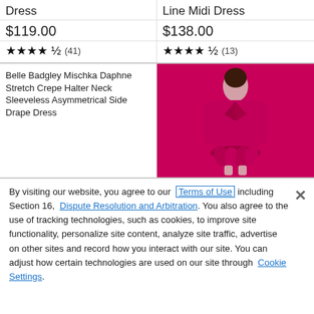Dress
$119.00
★★★★½ (41)
Line Midi Dress
$138.00
★★★★½ (13)
Belle Badgley Mischka Daphne Stretch Crepe Halter Neck Sleeveless Asymmetrical Side Drape Dress
[Figure (photo): Hot pink blazer-style mini dress with feather hem, worn by a model]
By visiting our website, you agree to our Terms of Use including Section 16, Dispute Resolution and Arbitration. You also agree to the use of tracking technologies, such as cookies, to improve site functionality, personalize site content, analyze site traffic, advertise on other sites and record how you interact with our site. You can adjust how certain technologies are used on our site through Cookie Settings.